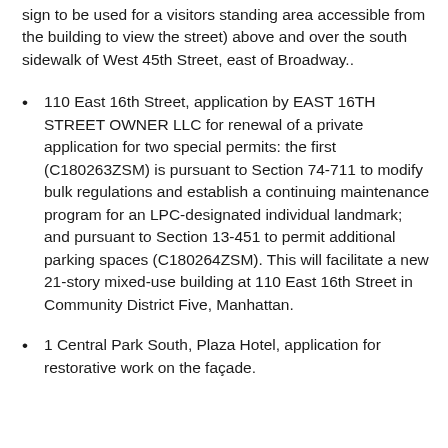sign to be used for a visitors standing area accessible from the building to view the street) above and over the south sidewalk of West 45th Street, east of Broadway..
110 East 16th Street, application by EAST 16TH STREET OWNER LLC for renewal of a private application for two special permits: the first (C180263ZSM) is pursuant to Section 74-711 to modify bulk regulations and establish a continuing maintenance program for an LPC-designated individual landmark; and pursuant to Section 13-451 to permit additional parking spaces (C180264ZSM). This will facilitate a new 21-story mixed-use building at 110 East 16th Street in Community District Five, Manhattan.
1 Central Park South, Plaza Hotel, application for restorative work on the façade.